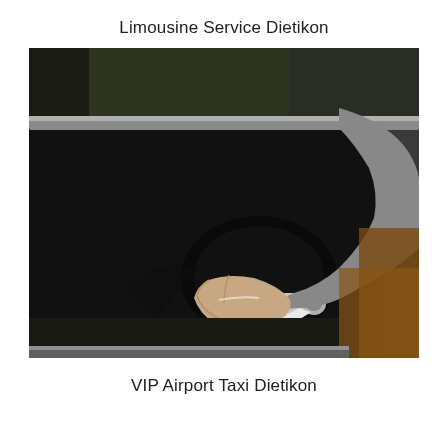Limousine Service Dietikon
[Figure (photo): A chauffeur in a grey suit reaching to open a dark car door by its chrome door handle. The background shows blurred greenery and foliage.]
VIP Airport Taxi Dietikon